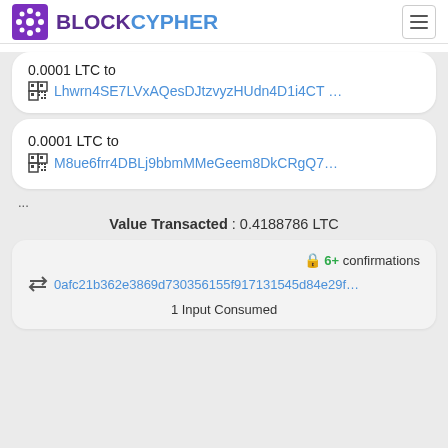BLOCKCYPHER
0.0001 LTC to Lhwrn4SE7LVxAQesDJtzvyzHUdn4D1i4CT …
0.0001 LTC to M8ue6frr4DBLj9bbmMMeGeem8DkCRgQ7…
...
Value Transacted : 0.4188786 LTC
🔒 6+ confirmations
0afc21b362e3869d730356155f917131545d84e29f…
1 Input Consumed